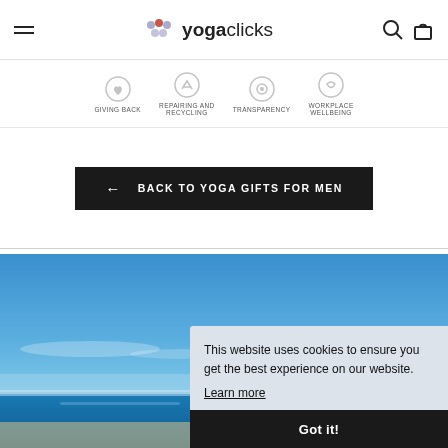yogaclicks
GIVING BACK   REPAIRING AND RECYCLING   TRANSPARENCY   WORKPLACE WELLBEING
← BACK TO YOGA GIFTS FOR MEN
[Figure (photo): Outdoor beach scene with blue sky and water visible in the lower portion]
This website uses cookies to ensure you get the best experience on our website. Learn more  Got it!